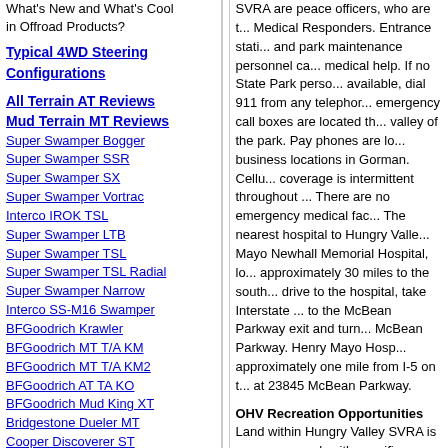What's New and What's Cool in Offroad Products?
Typical 4WD Steering Configurations
All Terrain AT Reviews
Mud Terrain MT Reviews
Super Swamper Bogger
Super Swamper SSR
Super Swamper SX
Super Swamper Vortrac
Interco IROK TSL
Super Swamper LTB
Super Swamper TSL
Super Swamper TSL Radial
Super Swamper Narrow
Interco SS-M16 Swamper
BFGoodrich Krawler
BFGoodrich MT T/A KM
BFGoodrich MT T/A KM2
BFGoodrich AT TA KO
BFGoodrich Mud King XT
Bridgestone Dueler MT
Cooper Discoverer ST
Cooper Discoverer STT
Cooper Discoverer ST/C
Dayton Timberline MT
Dayton Timberline AT
Dick Cepek Crusher
Dick Cepek F-C II
Dick Cepek Fun Country II
Dick Cepek Fun Country
SVRA are peace officers, who are t... Medical Responders. Entrance stati... and park maintenance personnel ca... medical help. If no State Park perso... available, dial 911 from any telephor... emergency call boxes are located th... valley of the park. Pay phones are lo... business locations in Gorman. Cellu... coverage is intermittent throughout ... There are no emergency medical fac... The nearest hospital to Hungry Valle... Mayo Newhall Memorial Hospital, lo... approximately 30 miles to the south... drive to the hospital, take Interstate ... to the McBean Parkway exit and turn... McBean Parkway. Henry Mayo Hosp... approximately one mile from I-5 on t... at 23845 McBean Parkway.
OHV Recreation Opportunities
Land within Hungry Valley SVRA is c... zones, each with specific allowable ... many areas within Hungry Valley erc... disturbed. The zone system has bee... enhance OHV operator safety and e... reduce the need for extensive and c... control work.
Open Riding
Over 4,000 acres are available for or... use in this zone is not restricted to d... and is allowed in virtually all location... zone. The open riding zone contains... terrain, from flat areas and sand was... and steep hill climb areas. Camping...